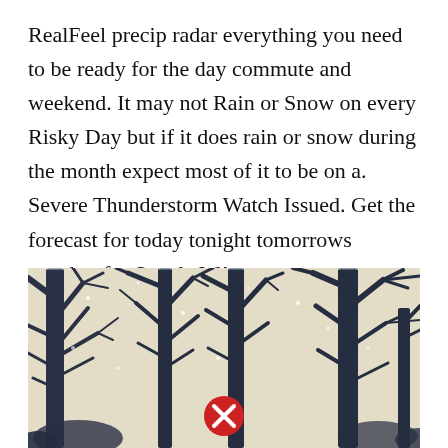RealFeel precip radar everything you need to be ready for the day commute and weekend. It may not Rain or Snow on every Risky Day but if it does rain or snow during the month expect most of it to be on a. Severe Thunderstorm Watch Issued. Get the forecast for today tonight tomorrows weather for Seattle WA.
[Figure (photo): Winter snow scene with bare tree branches covered in snow against a pale beige/cream sky. A red circle with white X button is overlaid at the bottom center of the image.]